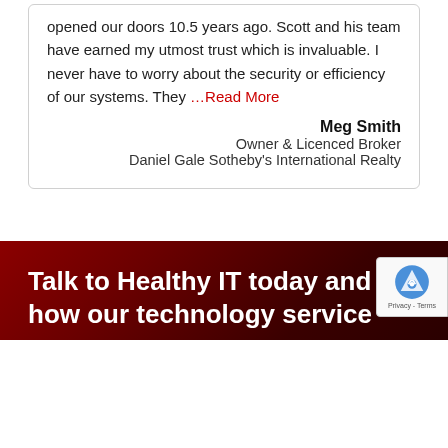opened our doors 10.5 years ago. Scott and his team have earned my utmost trust which is invaluable. I never have to worry about the security or efficiency of our systems. They …Read More
Meg Smith
Owner & Licenced Broker
Daniel Gale Sotheby's International Realty
Talk to Healthy IT today and how our technology service